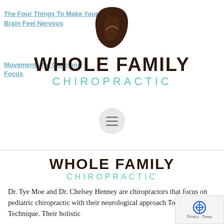The Four Things To Make Your Brain Feel Nervous
Movements for Calm and Focus
[Figure (logo): Whole Family Chiropractic logo: brown stylized figure/leaf icon above bold dark text WHOLE FAMILY and teal text CHIROPRACTIC]
[Figure (other): Circular menu button with three horizontal lines (hamburger menu icon)]
WHOLE FAMILY CHIROPRACTIC
Dr. Tye Moe and Dr. Chelsey Henney are chiropractors that focus on pediatric chiropractic with their neurological approach Torque Release Technique. Their holistic